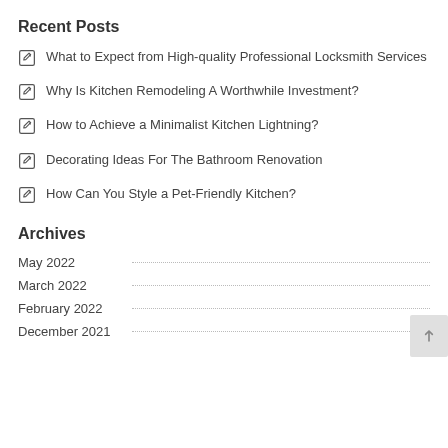Recent Posts
What to Expect from High-quality Professional Locksmith Services
Why Is Kitchen Remodeling A Worthwhile Investment?
How to Achieve a Minimalist Kitchen Lightning?
Decorating Ideas For The Bathroom Renovation
How Can You Style a Pet-Friendly Kitchen?
Archives
May 2022
March 2022
February 2022
December 2021